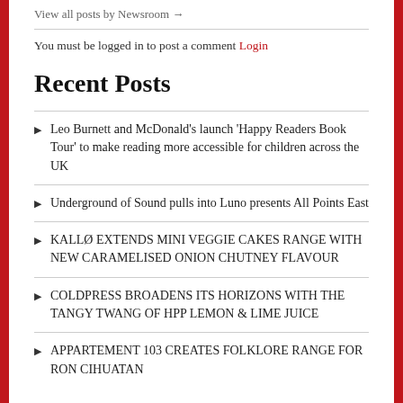View all posts by Newsroom →
You must be logged in to post a comment Login
Recent Posts
Leo Burnett and McDonald's launch 'Happy Readers Book Tour' to make reading more accessible for children across the UK
Underground of Sound pulls into Luno presents All Points East
KALLØ EXTENDS MINI VEGGIE CAKES RANGE WITH NEW CARAMELISED ONION CHUTNEY FLAVOUR
COLDPRESS BROADENS ITS HORIZONS WITH THE TANGY TWANG OF HPP LEMON & LIME JUICE
APPARTEMENT 103 CREATES FOLKLORE RANGE FOR RON CIHUATAN